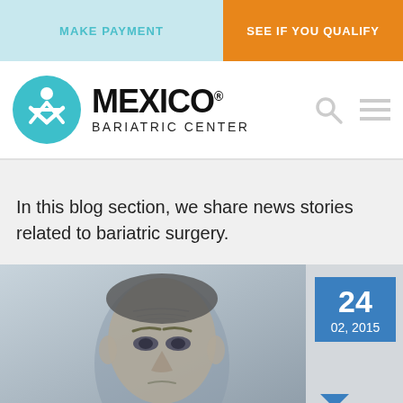MAKE PAYMENT | SEE IF YOU QUALIFY
[Figure (logo): Mexico Bariatric Center logo with teal circle icon of human figure and text MEXICO BARIATRIC CENTER]
In this blog section, we share news stories related to bariatric surgery.
[Figure (photo): Photo of a man's face with furrowed brow, partially cropped, with a blue date badge showing 24 / 02, 2015]